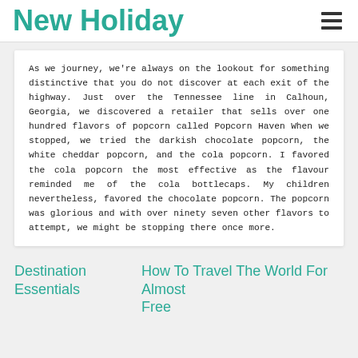New Holiday
As we journey, we're always on the lookout for something distinctive that you do not discover at each exit of the highway. Just over the Tennessee line in Calhoun, Georgia, we discovered a retailer that sells over one hundred flavors of popcorn called Popcorn Haven When we stopped, we tried the darkish chocolate popcorn, the white cheddar popcorn, and the cola popcorn. I favored the cola popcorn the most effective as the flavour reminded me of the cola bottlecaps. My children nevertheless, favored the chocolate popcorn. The popcorn was glorious and with over ninety seven other flavors to attempt, we might be stopping there once more.
Destination Essentials
How To Travel The World For Almost Free